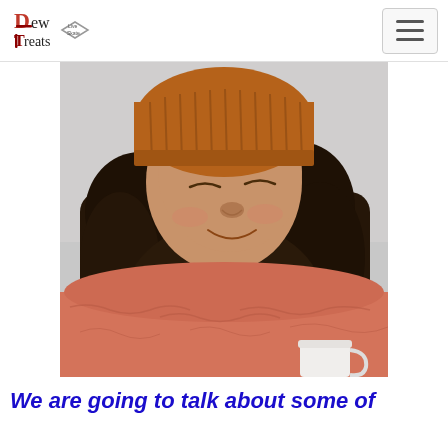Dew Treats Live Skate
[Figure (photo): Close-up photo of a woman with curly dark hair wearing an orange knit beanie hat and a pink/salmon knit sweater, eyes closed, smiling gently, holding a white cup]
We are going to talk about some of the b...